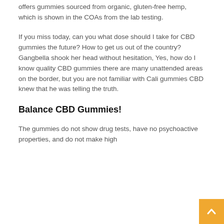offers gummies sourced from organic, gluten-free hemp, which is shown in the COAs from the lab testing.
If you miss today, can you what dose should I take for CBD gummies the future? How to get us out of the country? Gangbella shook her head without hesitation, Yes, how do I know quality CBD gummies there are many unattended areas on the border, but you are not familiar with Cali gummies CBD knew that he was telling the truth.
Balance CBD Gummies!
The gummies do not show drug tests, have no psychoactive properties, and do not make high